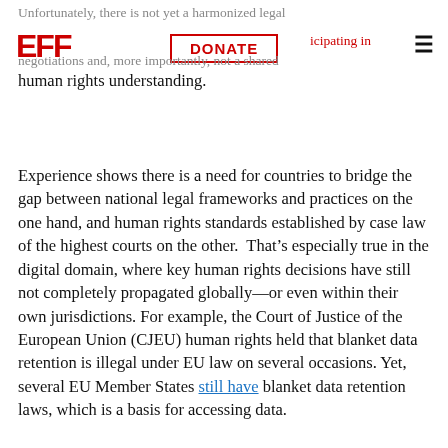Unfortunately, there is not yet a harmonized legal [EFF logo] [DONATE button] among the countries participating in the negotiations and, more importantly, not a shared human rights understanding.
Experience shows there is a need for countries to bridge the gap between national legal frameworks and practices on the one hand, and human rights standards established by case law of the highest courts on the other.  That’s especially true in the digital domain, where key human rights decisions have still not completely propagated globally—or even within their own jurisdictions. For example, the Court of Justice of the European Union (CJEU) human rights held that blanket data retention is illegal under EU law on several occasions. Yet, several EU Member States still have blanket data retention laws, which is a basis for accessing data.